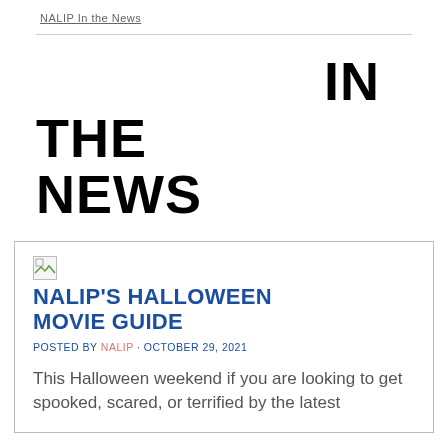NALIP In the News
IN THE NEWS
NALIP'S HALLOWEEN MOVIE GUIDE
POSTED BY NALIP · OCTOBER 29, 2021
This Halloween weekend if you are looking to get spooked, scared, or terrified by the latest